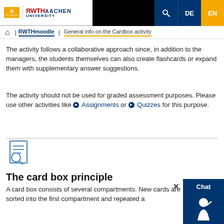IT Center RWTH AACHEN UNIVERSITY | DE | EN
Home | RWTHmoodle | General info on the Cardbox activity
The activity follows a collaborative approach since, in addition to the managers, the students themselves can also create flashcards or expand them with supplementary answer suggestions.
The activity should not be used for graded assessment purposes. Please use other activities like ❯ Assignments or ❯ Quizzes for this purpose.
[Figure (illustration): Icon of a document with a magnifying glass, representing the card box principle section.]
The card box principle
A card box consists of several compartments. New cards are sorted into the first compartment and repeated a